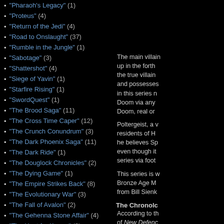"Pharaoh's Legacy" (1)
"Proteus" (4)
"Return of the Jedi" (4)
"Road to Onslaught" (37)
"Rumble in the Jungle" (1)
"Sabotage" (3)
"Shattershot" (4)
"Siege of Yavin" (1)
"Starfire Rising" (1)
"SwordQuest" (1)
"The Brood Saga" (11)
"The Cross Time Caper" (12)
"The Crunch Conundrum" (3)
"The Dark Phoenix Saga" (11)
"The Dark Ride" (1)
"The Douglock Chronicles" (2)
"The Dying Game" (1)
"The Empire Strikes Back" (8)
"The Evolutionary War" (3)
"The Fall of Avalon" (2)
"The Gehenna Stone Affair" (4)
"The Hunt for Karma" (3)
"The Killing Field" (2)
The main villain up in the forthcoming the true villain and possesses in this series n Doom via any Doom, real or
Poltergeist, a v residents of H he believes Sp even though it series via foot
This series is w Bronze Age M from Bill Sienk
The Chronolc
According to th of New Defenc occurred follow